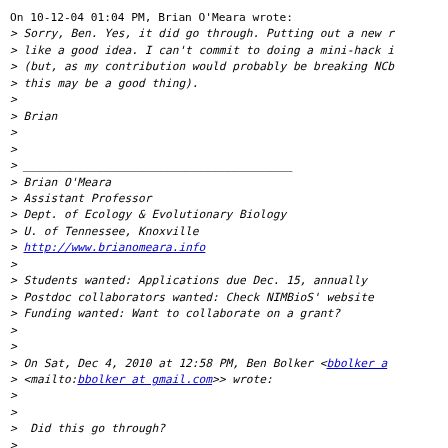On 10-12-04 01:04 PM, Brian O'Meara wrote:
> Sorry, Ben. Yes, it did go through. Putting out a new r
> like a good idea. I can't commit to doing a mini-hack i
> (but, as my contribution would probably be breaking NCb
> this may be a good thing).
>
> Brian
>
>
> ________________________________________
> Brian O'Meara
> Assistant Professor
> Dept. of Ecology & Evolutionary Biology
> U. of Tennessee, Knoxville
> http://www.brianomeara.info
>
> Students wanted: Applications due Dec. 15, annually
> Postdoc collaborators wanted: Check NIMBioS' website
> Funding wanted: Want to collaborate on a grant?
>
>
> On Sat, Dec 4, 2010 at 12:58 PM, Ben Bolker <bbolker a
> <mailto:bbolker at gmail.com>> wrote:
>
>
>  Did this go through?
>
> -------- Original Message --------
> Subject: new release, virtual hackathon?